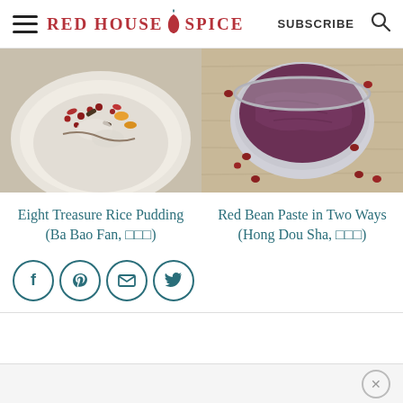RED HOUSE SPICE — SUBSCRIBE
[Figure (photo): Eight Treasure Rice Pudding dish with colorful toppings including pomegranate seeds, dried fruits, and nuts on a white plate]
[Figure (photo): Red bean paste in a round bowl on a wooden board with red beans scattered around]
Eight Treasure Rice Pudding (Ba Bao Fan, 八宝饭)
Red Bean Paste in Two Ways (Hong Dou Sha, 红豆沙)
[Figure (infographic): Social share icons: Facebook, Pinterest, Email, Twitter]